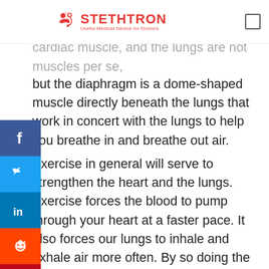STETHTRON — Useful Medical Device for Doctors
optimum capacity. The heart is considered to be a cardiac muscle, and the lungs are not muscles per se, but the diaphragm is a dome-shaped muscle directly beneath the lungs that work in concert with the lungs to help you breathe in and breathe out air.
Exercise in general will serve to strengthen the heart and the lungs. Exercise forces the blood to pump through your heart at a faster pace. It also forces your lungs to inhale and exhale air more often. By so doing the diaphragm is kept very busy which stimulates the movements of the rib cage. This all leads to making your lungs stronger.
Aerobic exercises in particular are beneficial for the lungs, the heart, and the circulatory system in general. These kinds of exercises act as a learning...